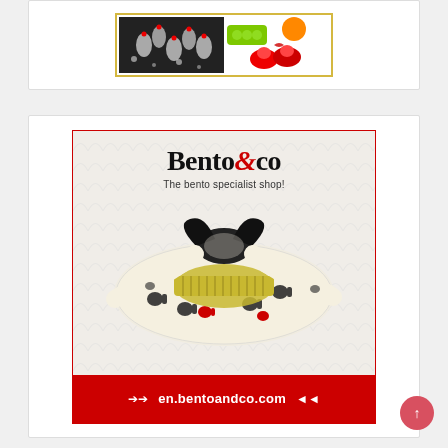[Figure (photo): Top card showing bento accessories: food picks shaped like bowling pins and colorful silicone cups, with a yellow border.]
[Figure (photo): Bento&co advertisement banner showing the Bento&co logo, tagline 'The bento specialist shop!', a furoshiki-wrapped bento box, and the URL en.bentoandco.com on a red footer bar.]